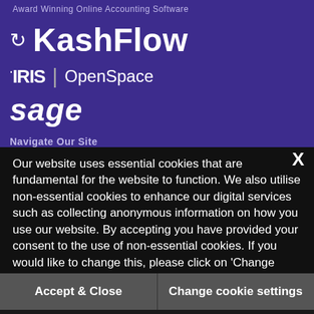Award Winning Online Accounting Software
[Figure (logo): KashFlow logo with circular arrows icon and KashFlow text in white on purple background]
[Figure (logo): IRIS OpenSpace logo in white on purple background]
[Figure (logo): Sage logo in white italic text on purple background]
Navigate Our Site
Our website uses essential cookies that are fundamental for the website to function. We also utilise non-essential cookies to enhance our digital services such as collecting anonymous information on how you use our website. By accepting you have provided your consent to the use of non-essential cookies. If you would like to change this, please click on 'Change cookie settings'.
Accept & Close
Change cookie settings